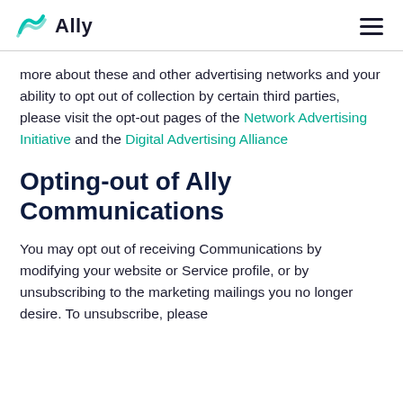Ally
more about these and other advertising networks and your ability to opt out of collection by certain third parties, please visit the opt-out pages of the Network Advertising Initiative and the Digital Advertising Alliance
Opting-out of Ally Communications
You may opt out of receiving Communications by modifying your website or Service profile, or by unsubscribing to the marketing mailings you no longer desire. To unsubscribe, please